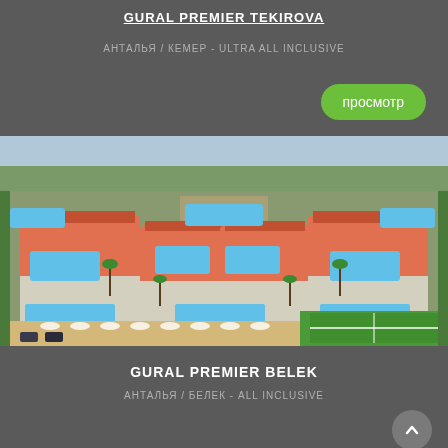GURAL PREMIER TEKIROVA
АНТАЛЬЯ / КЕМЕР - ULTRA ALL INCLUSIVE
просмотр
[Figure (photo): Aerial view of Gural Premier Belek hotel resort complex with orange-roofed buildings, multiple swimming pools, palm trees and tennis courts]
GURAL PREMIER BELEK
АНТАЛЬЯ / БЕЛЕК - ALL INCLUSIVE